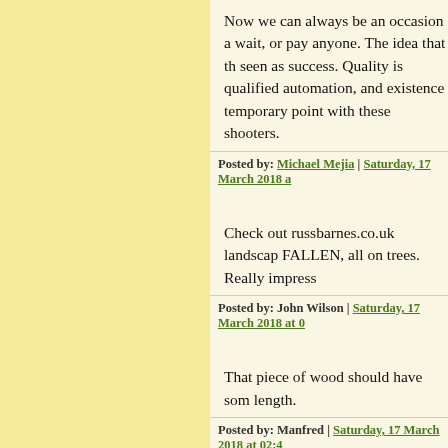Now we can always be an occasion a wait, or pay anyone. The idea that th seen as success. Quality is qualified automation, and existence temporary point with these shooters.
Posted by: Michael Mejia | Saturday, 17 March 2018 a
Check out russbarnes.co.uk landscap FALLEN, all on trees. Really impress
Posted by: John Wilson | Saturday, 17 March 2018 at 0
That piece of wood should have som length.
Posted by: Manfred | Saturday, 17 March 2018 at 02:4
"I think it's hilarious that everyone c happen to make."